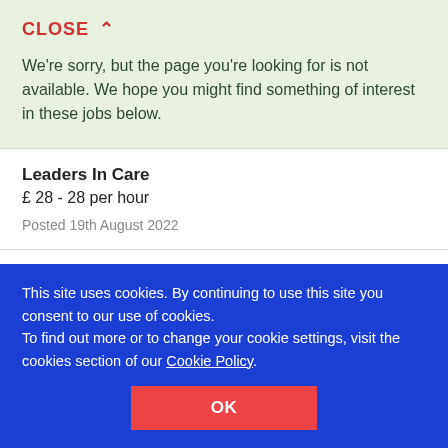CLOSE ∧
We're sorry, but the page you're looking for is not available. We hope you might find something of interest in these jobs below.
Leaders In Care
£ 28 - 28 per hour
Posted 19th August 2022
Minor Illness Clinician
Portsmouth, Hampshire
Practice Plus Group
£ 36500 - 36500 per year
This site uses cookies. By continuing to use this site you consent to our use of cookies.
To find out more or to change your cookie settings, visit the cookies section of our Cookie Policy.